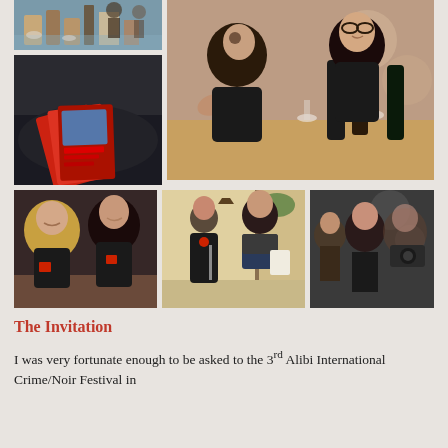[Figure (photo): Photo collage of 5 photos from the Alibi International Crime/Noir Festival: two stacked photos in top-left (bar scene, booklets/cards on table), one large photo top-right (two women laughing at table with wine and books), three photos in bottom row (two women smiling at table, a woman and man presenting/speaking, audience members watching)]
The Invitation
I was very fortunate enough to be asked to the 3rd Alibi International Crime/Noir Festival in